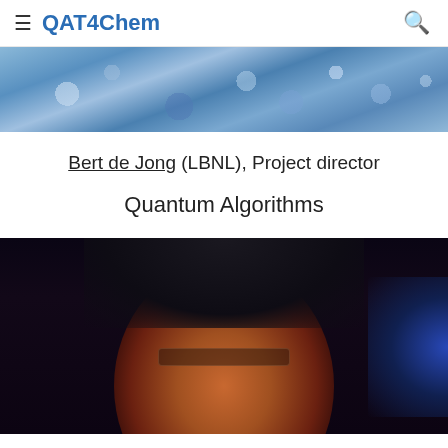QAT4Chem
[Figure (photo): Partial photo of a person wearing a blue floral patterned top, cropped at the top of the page]
Bert de Jong (LBNL), Project director
Quantum Algorithms
[Figure (photo): Photo of an Asian man with glasses and short dark hair, lit with reddish light against a dark background with blue light on the right side]